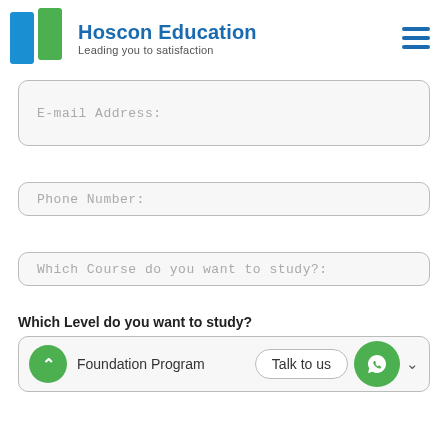[Figure (logo): Hoscon Education logo with two colored rectangles (blue and green) and text 'Hoscon Education / Leading you to satisfaction']
E-mail Address:
Phone Number:
Which Course do you want to study?:
Which Level do you want to study?
Foundation Program
Talk to us